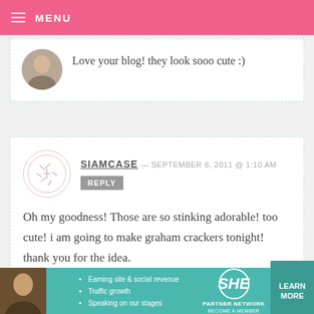MENU
Love your blog! they look sooo cute :)
SIAMCASE — SEPTEMBER 8, 2011 @ 1:10 AM
REPLY
Oh my goodness! Those are so stinking adorable! too cute! i am going to make graham crackers tonight! thank you for the idea.
[Figure (screenshot): Partial ad banner for SHE Partner Network with bullet points: Earning site & social revenue, Traffic growth, Speaking on our stages. Includes LEARN MORE button.]